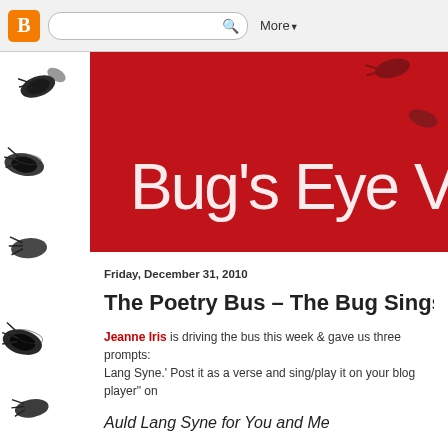Blogger navigation bar with search box and More button
[Figure (illustration): Bug/insect illustrations on left sidebar background]
Bug's Eye Vie
Friday, December 31, 2010
The Poetry Bus – The Bug Sings Auld
Jeanne Iris is driving the bus this week & gave us three prompts: Lang Syne.' Post it as a verse and sing/play it on your blog player" on
Auld Lang Syne for You and Me
Should you and I review this year
And for the old days pine?
Should you and I regret these days
And auld lang syne?